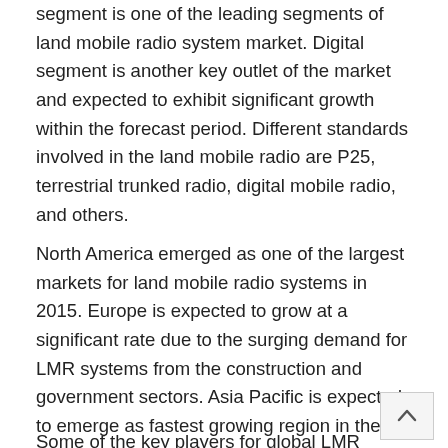segment is one of the leading segments of land mobile radio system market. Digital segment is another key outlet of the market and expected to exhibit significant growth within the forecast period. Different standards involved in the land mobile radio are P25, terrestrial trunked radio, digital mobile radio, and others.
North America emerged as one of the largest markets for land mobile radio systems in 2015. Europe is expected to grow at a significant rate due to the surging demand for LMR systems from the construction and government sectors. Asia Pacific is expected to emerge as fastest growing region in the forecast period due to the rapid growth of the automotive industry in India and China.
Some of the key players for global LMR system include